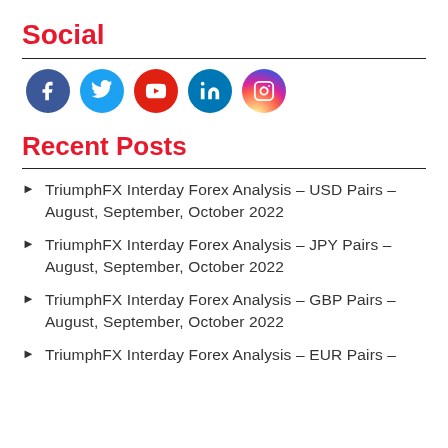Social
[Figure (infographic): Social media icons: Facebook, Twitter, YouTube, LinkedIn, Instagram]
Recent Posts
TriumphFX Interday Forex Analysis – USD Pairs – August, September, October 2022
TriumphFX Interday Forex Analysis – JPY Pairs – August, September, October 2022
TriumphFX Interday Forex Analysis – GBP Pairs – August, September, October 2022
TriumphFX Interday Forex Analysis – EUR Pairs –